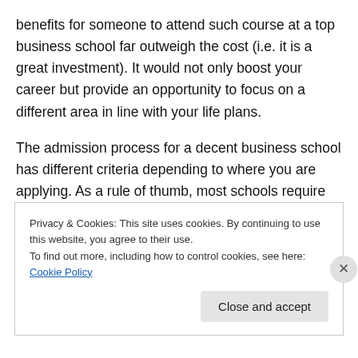benefits for someone to attend such course at a top business school far outweigh the cost (i.e. it is a great investment). It would not only boost your career but provide an opportunity to focus on a different area in line with your life plans.
The admission process for a decent business school has different criteria depending to where you are applying. As a rule of thumb, most schools require some sort of reference letter and demonstration of academic and professional excellence (e.g. transcripts and your CV with
Privacy & Cookies: This site uses cookies. By continuing to use this website, you agree to their use.
To find out more, including how to control cookies, see here: Cookie Policy